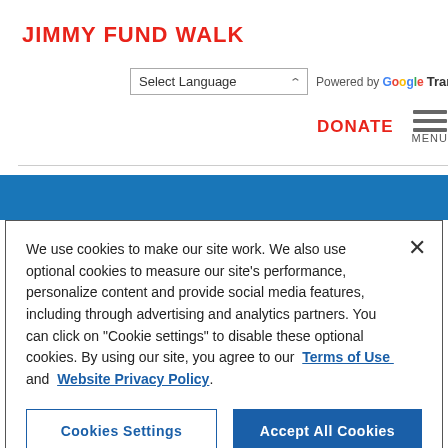JIMMY FUND WALK
Select Language | Powered by Google Translate
DONATE MENU
We use cookies to make our site work. We also use optional cookies to measure our site's performance, personalize content and provide social media features, including through advertising and analytics partners. You can click on "Cookie settings" to disable these optional cookies. By using our site, you agree to our Terms of Use and Website Privacy Policy.
Cookies Settings | Accept All Cookies